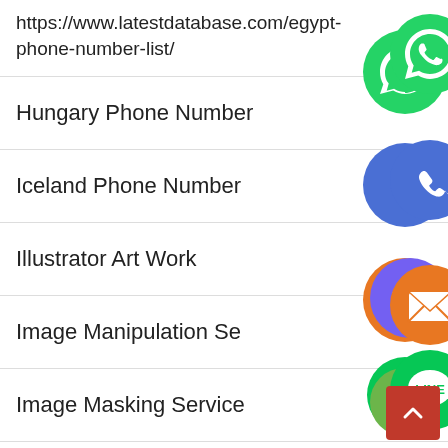https://www.latestdatabase.com/egypt-phone-number-list/
Hungary Phone Number
Iceland Phone Number
Illustrator Art Work
Image Manipulation Se...
Image Masking Service
India Phone Number
Israel Phone Number
[Figure (infographic): Floating social media icons: WhatsApp (green), Phone/Viber (blue), Email (orange), LINE (green), Viber (purple), Close/X (green), overlaid on the list]